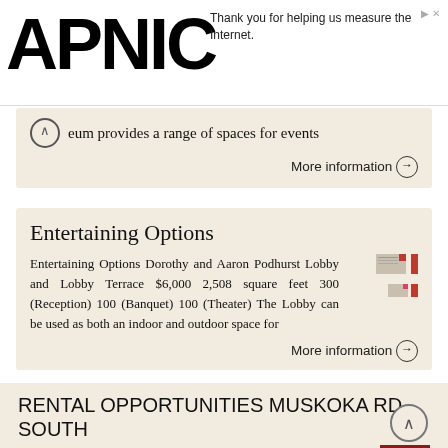APNIC
Thank you for helping us measure the Internet.
eum provides a range of spaces for events
More information →
Entertaining Options
Entertaining Options Dorothy and Aaron Podhurst Lobby and Lobby Terrace $6,000 2,508 square feet 300 (Reception) 100 (Banquet) 100 (Theater) The Lobby can be used as both an indoor and outdoor space for
[Figure (photo): Small thumbnail images of lobby spaces]
More information →
RENTAL OPPORTUNITIES MUSKOKA RD SOUTH
RENTAL OPPORTUNITIES 1-888-495-8888